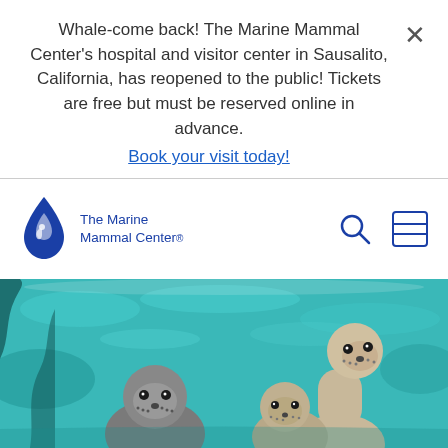Whale-come back! The Marine Mammal Center's hospital and visitor center in Sausalito, California, has reopened to the public! Tickets are free but must be reserved online in advance. Book your visit today!
[Figure (logo): The Marine Mammal Center logo: blue water-drop shape with seal silhouette and text 'The Marine Mammal Center.']
[Figure (photo): Three harbor seal pups swimming in bright turquoise water, looking up at the camera.]